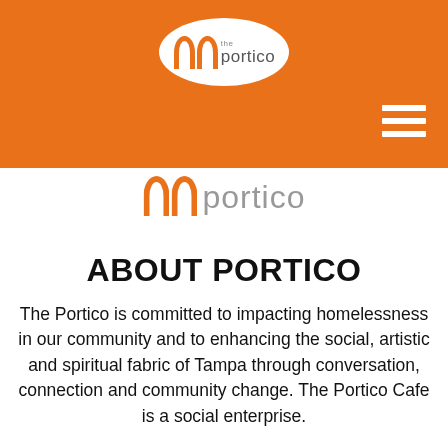[Figure (logo): The Portico logo in white oval on orange header bar, with two arch shapes in orange and the text 'the portico' in gray]
[Figure (logo): Portico sub-header logo with two orange arch shapes and the word 'portico' in gray]
ABOUT PORTICO
The Portico is committed to impacting homelessness in our community and to enhancing the social, artistic and spiritual fabric of Tampa through conversation, connection and community change. The Portico Cafe is a social enterprise.